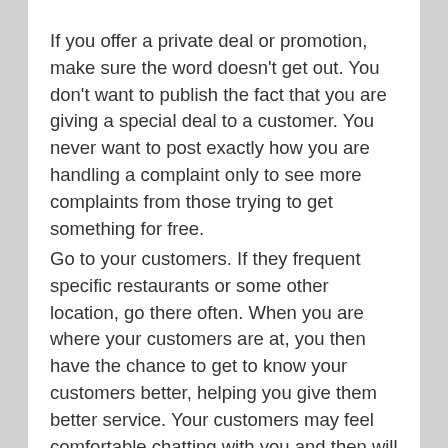If you offer a private deal or promotion, make sure the word doesn't get out. You don't want to publish the fact that you are giving a special deal to a customer. You never want to post exactly how you are handling a complaint only to see more complaints from those trying to get something for free.
Go to your customers. If they frequent specific restaurants or some other location, go there often. When you are where your customers are at, you then have the chance to get to know your customers better, helping you give them better service. Your customers may feel comfortable chatting with you and then will